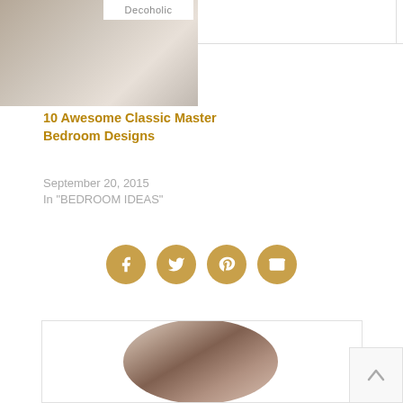[Figure (photo): Bedroom image thumbnail at top left with Decoholic branding bar]
10 Awesome Classic Master Bedroom Designs
September 20, 2015
In "BEDROOM IDEAS"
[Figure (infographic): Social sharing icons: Facebook, Twitter, Pinterest, Email — gold circles]
[Figure (photo): Author portrait photo in oval/rounded frame inside an author bio box]